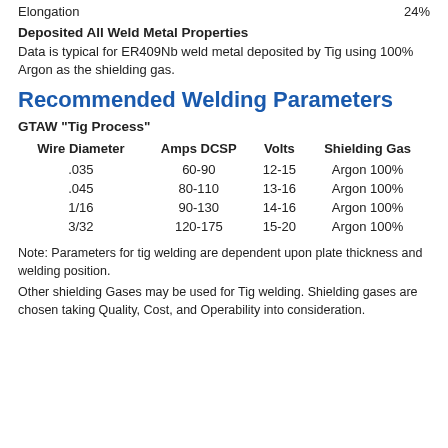Elongation   24%
Deposited All Weld Metal Properties
Data is typical for ER409Nb weld metal deposited by Tig using 100% Argon as the shielding gas.
Recommended Welding Parameters
GTAW “Tig Process”
| Wire Diameter | Amps DCSP | Volts | Shielding Gas |
| --- | --- | --- | --- |
| .035 | 60-90 | 12-15 | Argon 100% |
| .045 | 80-110 | 13-16 | Argon 100% |
| 1/16 | 90-130 | 14-16 | Argon 100% |
| 3/32 | 120-175 | 15-20 | Argon 100% |
Note: Parameters for tig welding are dependent upon plate thickness and welding position.
Other shielding Gases may be used for Tig welding. Shielding gases are chosen taking Quality, Cost, and Operability into consideration.